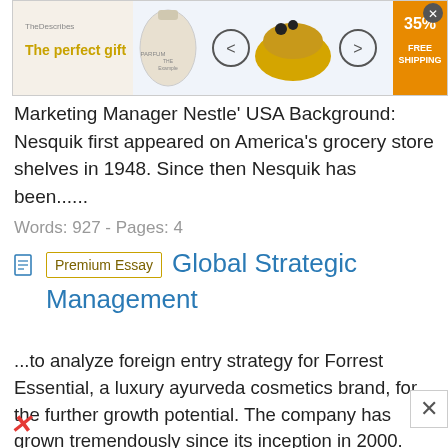[Figure (screenshot): Advertisement banner showing 'The perfect gift' with parfum product image, navigation arrows, and '35% FREE SHIPPING' offer with close button]
Marketing Manager Nestle' USA Background: Nesquik first appeared on America's grocery store shelves in 1948. Since then Nesquik has been......
Words: 927 - Pages: 4
Premium Essay   Global Strategic Management
...to analyze foreign entry strategy for Forrest Essential, a luxury ayurveda cosmetics brand, for the further growth potential. The company has grown tremendously since its inception in 2000. Owing to the surging demand of the organic cosmetics in the global market, it is imperative for the company to use this opportunity and plan to go global. This document